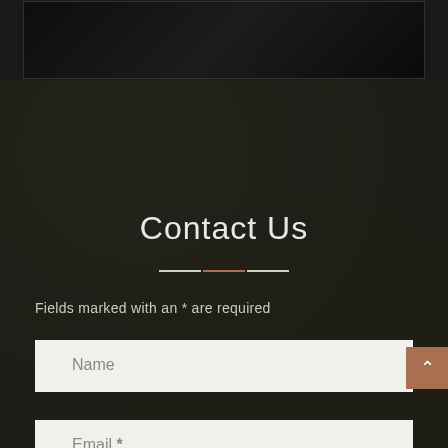[Figure (photo): Dark black and white photograph of figures in suits at the top of the page]
Contact Us
Fields marked with an * are required
Name
Email *